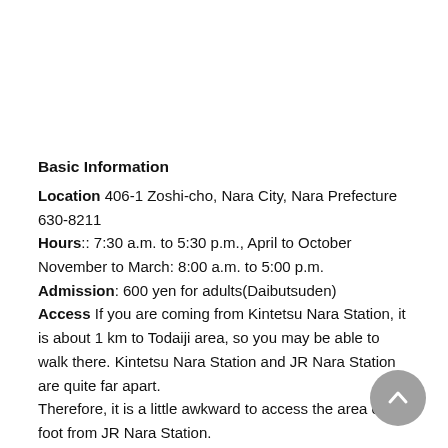Basic Information
Location 406-1 Zoshi-cho, Nara City, Nara Prefecture 630-8211
Hours:: 7:30 a.m. to 5:30 p.m., April to October
November to March: 8:00 a.m. to 5:00 p.m.
Admission: 600 yen for adults(Daibutsuden)
Access If you are coming from Kintetsu Nara Station, it is about 1 km to Todaiji area, so you may be able to walk there. Kintetsu Nara Station and JR Nara Station are quite far apart.
Therefore, it is a little awkward to access the area on foot from JR Nara Station.